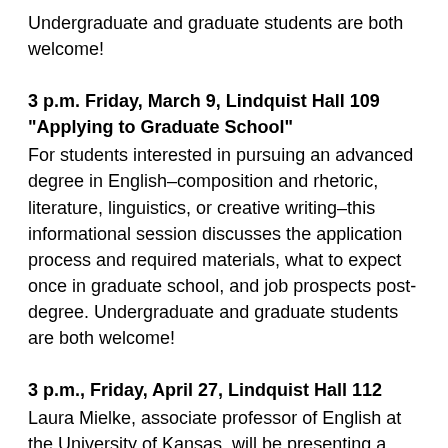Undergraduate and graduate students are both welcome!
3 p.m. Friday, March 9, Lindquist Hall 109
"Applying to Graduate School"
For students interested in pursuing an advanced degree in English–composition and rhetoric, literature, linguistics, or creative writing–this informational session discusses the application process and required materials, what to expect once in graduate school, and job prospects post-degree. Undergraduate and graduate students are both welcome!
3 p.m., Friday, April 27, Lindquist Hall 112
Laura Mielke, associate professor of English at the University of Kansas, will be presenting a research talk on her recent book project, Provocative Eloquence: Theatre and the Limits of Anti-Slavery Oratory in the Antebellum U.S. The title of her talk is"Shakespeare's Portia and the